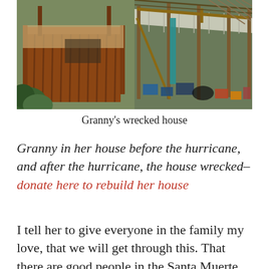[Figure (photo): Aerial view of a wrecked house made of wooden planks and corrugated metal/tarp roofing, surrounded by dry brush and vegetation. The structure appears heavily damaged with makeshift materials.]
Granny's wrecked house
Granny in her house before the hurricane, and after the hurricane, the house wrecked– donate here to rebuild her house
I tell her to give everyone in the family my love, that we will get through this. That there are good people in the Santa Muerte